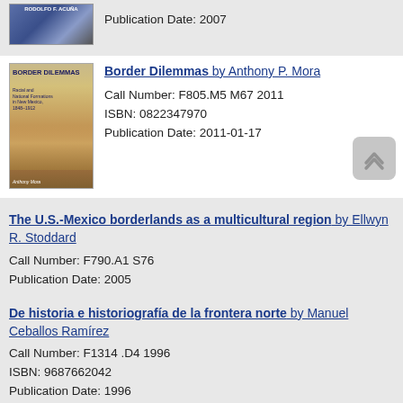Publication Date: 2007
Border Dilemmas by Anthony P. Mora
Call Number: F805.M5 M67 2011
ISBN: 0822347970
Publication Date: 2011-01-17
The U.S.-Mexico borderlands as a multicultural region by Ellwyn R. Stoddard
Call Number: F790.A1 S76
Publication Date: 2005
De historia e historiografia de la frontera norte by Manuel Ceballos Ramírez
Call Number: F1314 .D4 1996
ISBN: 9687662042
Publication Date: 1996
Entre fronteras : las relaciones de los españoles, mexicanos y angloamericanos con los grupos indígenas del oeste norteamericano